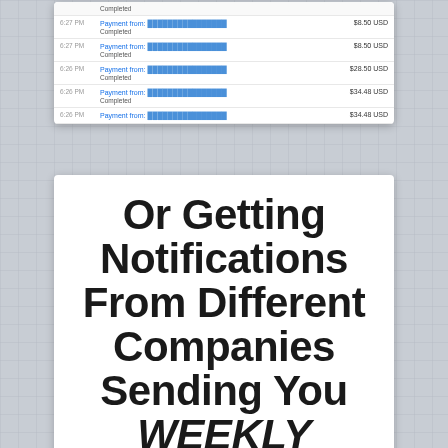[Figure (screenshot): PayPal transaction history screenshot showing multiple payments received. Rows include timestamps (6:27 PM, 6:26 PM), Payment from [redacted name], Completed status, and amounts: $8.50 USD, $8.50 USD, $28.50 USD, $34.48 USD, $34.48 USD]
Or Getting Notifications From Different Companies Sending You WEEKLY